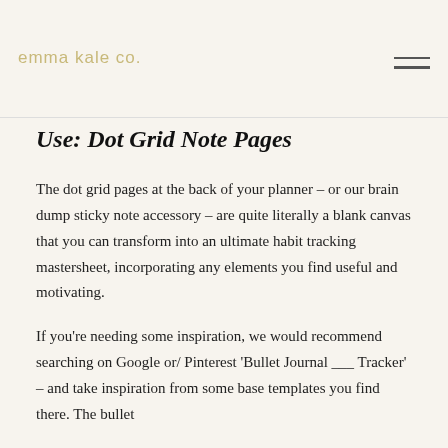emma kale co.
Use: Dot Grid Note Pages
The dot grid pages at the back of your planner – or our brain dump sticky note accessory – are quite literally a blank canvas that you can transform into an ultimate habit tracking mastersheet, incorporating any elements you find useful and motivating.
If you're needing some inspiration, we would recommend searching on Google or/ Pinterest 'Bullet Journal ___ Tracker' – and take inspiration from some base templates you find there. The bullet